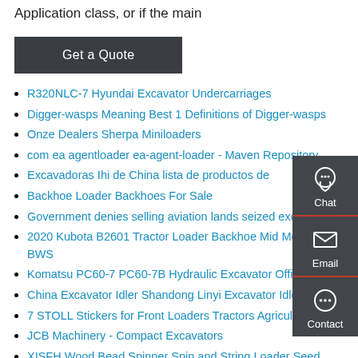Application class, or if the main
Get a Quote
R320NLC-7 Hyundai Excavator Undercarriages
Digger-wasps Meaning Best 1 Definitions of Digger-wasps
Onze Dealers Sherpa Miniloaders
com ea agentloader ea-agent-loader - Maven Repository
Excavadoras Ihi de China lista de productos de
Backhoe Loader Backhoes For Sale
Government denies selling aviation lands seized excavators
2020 Kubota B2601 Tractor Loader Backhoe Mid Mower - BWS
Komatsu PC60-7 PC60-7B Hydraulic Excavator Official
China Excavator Idler Shandong Linyi Excavator Idler
7 STOLL Stickers for Front Loaders Tractors Agricultural
JCB Machinery - Compact Excavators
XISFH Wood Bead Spinner Spin and String Loader Seed Bead